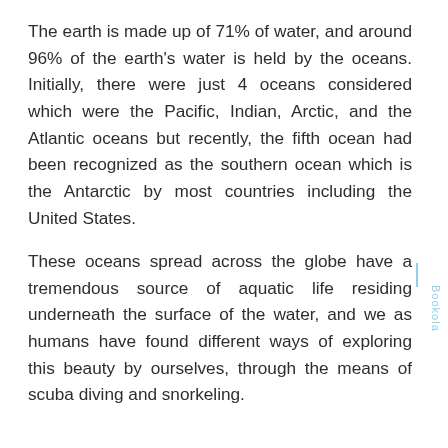The earth is made up of 71% of water, and around 96% of the earth's water is held by the oceans. Initially, there were just 4 oceans considered which were the Pacific, Indian, Arctic, and the Atlantic oceans but recently, the fifth ocean had been recognized as the southern ocean which is the Antarctic by most countries including the United States.
These oceans spread across the globe have a tremendous source of aquatic life residing underneath the surface of the water, and we as humans have found different ways of exploring this beauty by ourselves, through the means of scuba diving and snorkeling.